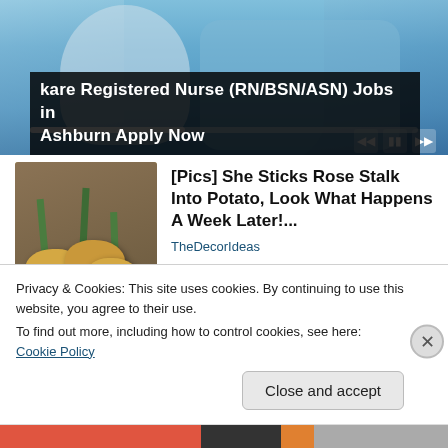[Figure (photo): Medical/nurse-themed video advertisement banner with video playback controls and progress bar]
kare Registered Nurse (RN/BSN/ASN) Jobs in Ashburn Apply Now
[Figure (photo): Thumbnail image of rose stalks stuck into potatoes on a wooden surface]
[Pics] She Sticks Rose Stalk Into Potato, Look What Happens A Week Later!...
TheDecorIdeas
Privacy & Cookies: This site uses cookies. By continuing to use this website, you agree to their use.
To find out more, including how to control cookies, see here: Cookie Policy
Close and accept